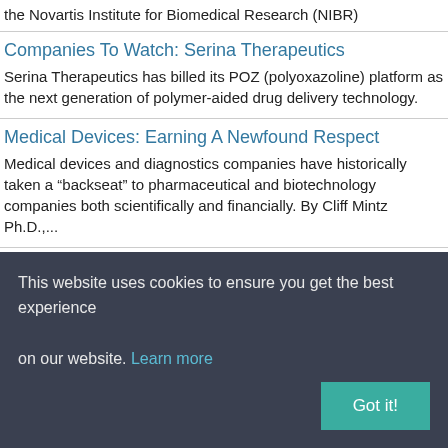the Novartis Institute for Biomedical Research (NIBR)
Companies To Watch: Serina Therapeutics
Serina Therapeutics has billed its POZ (polyoxazoline) platform as the next generation of polymer-aided drug delivery technology.
Medical Devices: Earning A Newfound Respect
Medical devices and diagnostics companies have historically taken a “backseat” to pharmaceutical and biotechnology companies both scientifically and financially. By Cliff Mintz Ph.D.,...
What’s R&D Got To Do With It?
Over the last five years or so, many big pharmaceutical companies concluded that their internal R&D activities were no longer delivering the
This website uses cookies to ensure you get the best experience on our website. Learn more